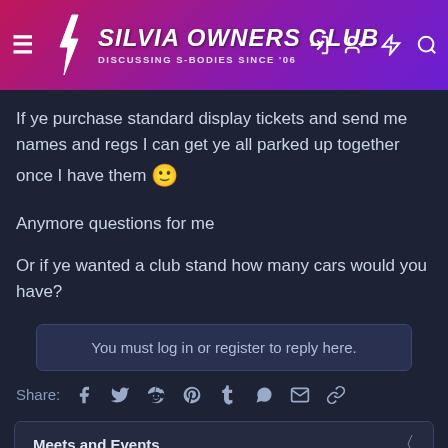SILVIA OWNERS CLUB — Discussing S-Bodies Since '06
If ye purchase standard display tickets and send me names and regs I can get ye all parked up together once I have them 🙂
Anymore questions for me
Or if ye wanted a club stand how many cars would you have?
You must log in or register to reply here.
Share: [Facebook] [Twitter] [Reddit] [Pinterest] [Tumblr] [WhatsApp] [Email] [Link]
Meets and Events